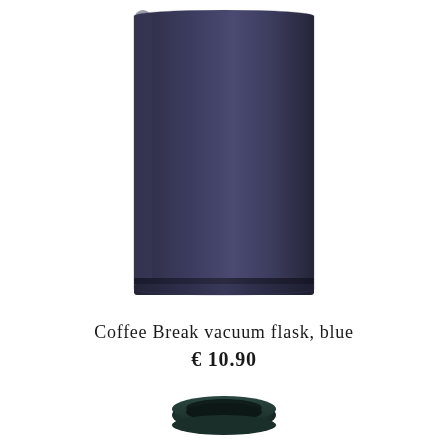[Figure (photo): Close-up of a dark navy blue cylindrical vacuum flask body, showing the lower portion of the bottle with a seam near the base. The flask has a matte metallic finish.]
Coffee Break vacuum flask, blue
€ 10.90
[Figure (photo): Top-down view of a dark teal/green screw-on lid or ring cap of a vacuum flask, showing the circular opening from above.]